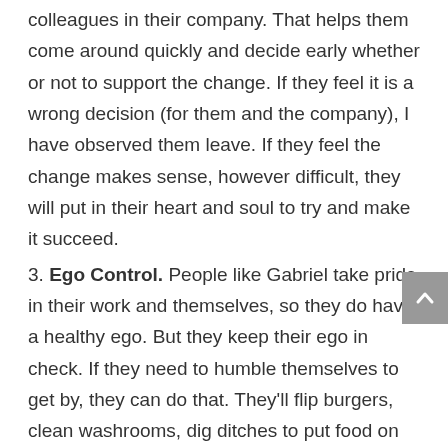colleagues in their company. That helps them come around quickly and decide early whether or not to support the change. If they feel it is a wrong decision (for them and the company), I have observed them leave. If they feel the change makes sense, however difficult, they will put in their heart and soul to try and make it succeed.
3. Ego Control. People like Gabriel take pride in their work and themselves, so they do have a healthy ego. But they keep their ego in check. If they need to humble themselves to get by, they can do that. They'll flip burgers, clean washrooms, dig ditches to put food on the table. They know these situations are temporary, and they're not personal. As Mike Todd, producer of the film Around the World in Eighty Days, and